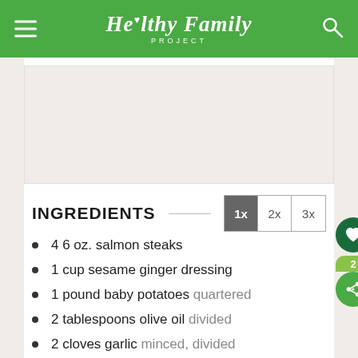Healthy Family Project
[Figure (other): Blank/white image placeholder area]
INGREDIENTS
4 6 oz. salmon steaks
1 cup sesame ginger dressing
1 pound baby potatoes quartered
2 tablespoons olive oil divided
2 cloves garlic minced, divided
1 9 oz. package baby spinach
Get ingredients with instacart